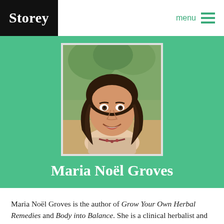Storey  menu
[Figure (photo): Headshot photo of Maria Noël Groves, a woman with long dark wavy hair, smiling, outdoors with greenery in the background]
Maria Noël Groves
Maria Noël Groves is the author of Grow Your Own Herbal Remedies and Body into Balance. She is a clinical herbalist and herbal medicine teacher with more than two decades of experience, and a registered professional member of the